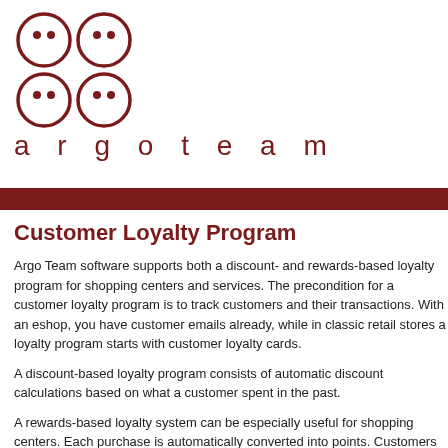[Figure (logo): Argo Team logo: four circles arranged in a 2x2 grid with small dots inside each, above the text 'argoteam' in spaced dark red letters]
Customer Loyalty Program
Argo Team software supports both a discount- and rewards-based loyalty program for shopping centers and services. The precondition for a customer loyalty program is to track customers and their transactions. With an eshop, you have customer emails already, while in classic retail stores a loyalty program starts with customer loyalty cards.
A discount-based loyalty program consists of automatic discount calculations based on what a customer spent in the past.
A rewards-based loyalty system can be especially useful for shopping centers. Each purchase is automatically converted into points. Customers can spend their points to acquire rewards.
The important effects of introducing a discount/reward program are: